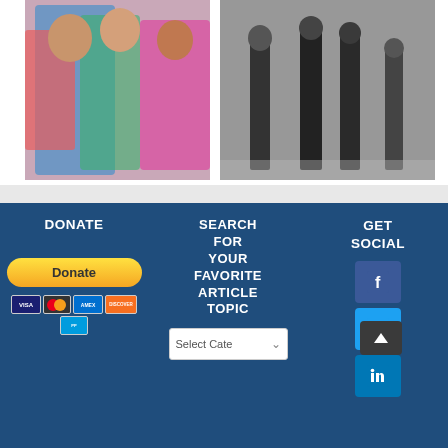[Figure (photo): Colorful photo of Indian girls in traditional dress]
[Figure (photo): Black and white photo of people walking in a crowd]
DONATE | SEARCH FOR YOUR FAVORITE ARTICLE TOPIC | GET SOCIAL
[Figure (other): PayPal Donate button with payment card icons]
[Figure (other): Search category dropdown: Select Category]
[Figure (other): Facebook, Twitter, LinkedIn social media icons, scroll-to-top button]